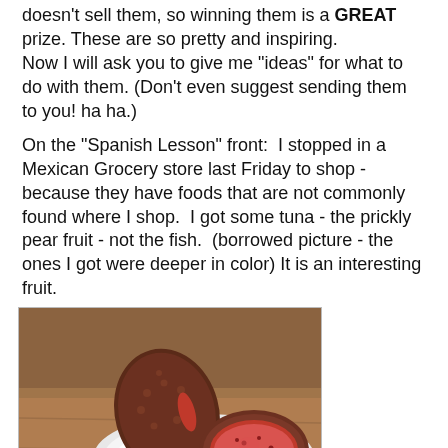doesn't sell them, so winning them is a GREAT prize. These are so pretty and inspiring.
Now I will ask you to give me "ideas" for what to do with them. (Don't even suggest sending them to you! ha ha.)
On the "Spanish Lesson" front:  I stopped in a Mexican Grocery store last Friday to shop - because they have foods that are not commonly found where I shop.  I got some tuna - the prickly pear fruit - not the fish.  (borrowed picture - the ones I got were deeper in color) It is an interesting fruit.
[Figure (photo): Photo of cactus pear (prickly pear fruit) - a dark brownish-red whole fruit and a halved fruit showing bright red interior, on a white plate on a wooden surface. Text overlay reads 'CACTUS PEAR' in bold white letters.]
But anyway,  when I checked out, I spoke to the clerk in Spanish and she grinned and answered in Spanish.  I told her that I was studying Spanish. "Yo estudio español. Yo